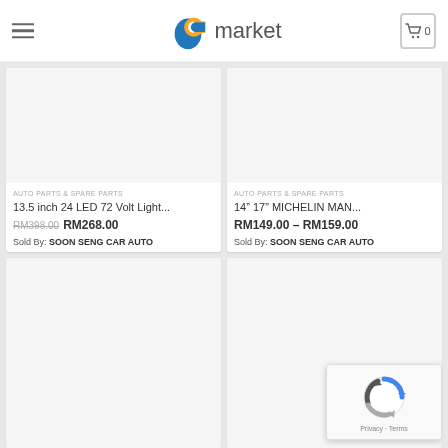PCmarket — hamburger menu, logo, cart (0)
[Figure (screenshot): Product card: 13.5 inch 24 LED 72 Volt Light... — AUTO PARTS & SPARE PARTS, RM398.00 crossed out, RM268.00, Sold By: SOON SENG CAR AUTO]
[Figure (screenshot): Product card: 14" 17" MICHELIN MAN... — AUTO PARTS & SPARE PARTS, RM149.00 – RM159.00, Sold By: SOON SENG CAR AUTO]
[Figure (screenshot): Product card (bottom left, partial): empty image area visible]
[Figure (screenshot): Product card (bottom right, partial): empty image area visible with reCAPTCHA overlay]
Privacy · Terms